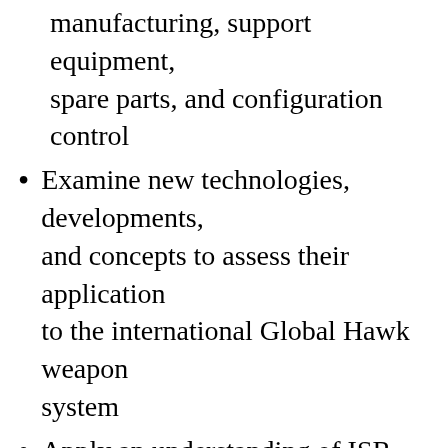manufacturing, support equipment, spare parts, and configuration control
Examine new technologies, developments, and concepts to assess their application to the international Global Hawk weapon system
Apply an understanding of ISR UAV information assurance (IA) processes and activities to develop action plans, assist in IMP/IMS development, assess risks, and resolve issues
Apply an understanding of Authority to Operate/Authority to Test to assist with developing schedules, identifying risks,